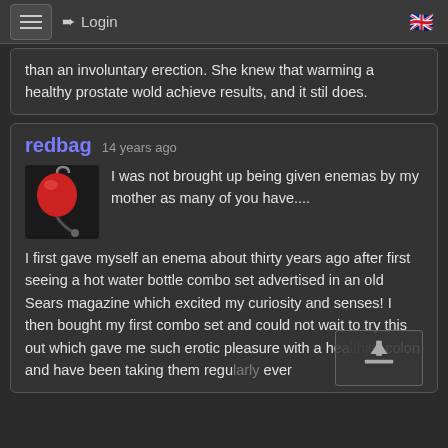Login
than an involuntary erection. She knew that warming a healthy prostate wold achieve results, and it stil does.
redbag 14 years ago
I was not brought up being given enemas by my mother as many of you have....
I first gave myself an enema about thirty years ago after first seeing a hot water bottle combo set advertised in an old Sears magazine which excited my curiosity and senses! I then bought my first combo set and could not wait to try this out which gave me such erotic pleasure with a healthier colon and have been taking them regularly ever